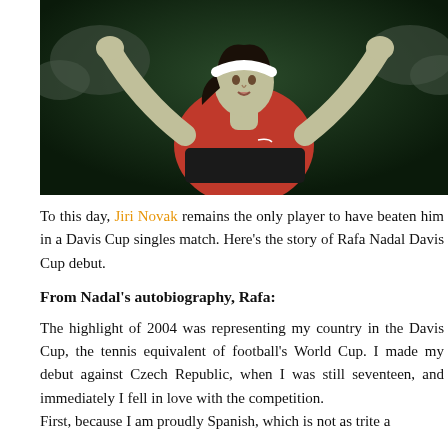[Figure (photo): Rafael Nadal in a red and black tennis shirt with arms raised above his head, wearing a white headband, celebrating, with crowd in background]
To this day, Jiri Novak remains the only player to have beaten him in a Davis Cup singles match. Here's the story of Rafa Nadal Davis Cup debut.
From Nadal's autobiography, Rafa:
The highlight of 2004 was representing my country in the Davis Cup, the tennis equivalent of football's World Cup. I made my debut against Czech Republic, when I was still seventeen, and immediately I fell in love with the competition.
First, because I am proudly Spanish, which is not as trite a